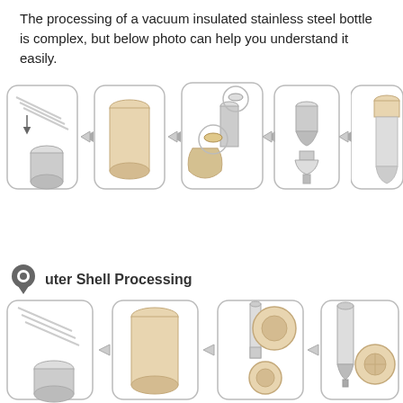The processing of a vacuum insulated stainless steel bottle is complex, but below photo can help you understand it easily.
[Figure (infographic): Step-by-step manufacturing process diagram for vacuum insulated stainless steel bottle - top row showing 5 stages with arrows: raw tube cutting, cylindrical blank, inner/outer shell parts, assembled components, finished bottle assembly]
Outer Shell Processing
[Figure (infographic): Step-by-step outer shell processing diagram showing 4 stages with arrows: raw tube with cut cylinder, cylindrical tube blank, outer shell with end caps/discs, finished outer shell with bottom disc]